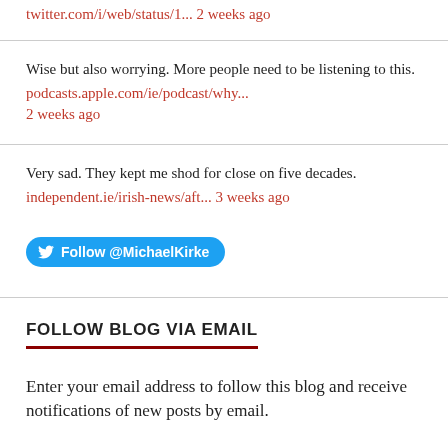twitter.com/i/web/status/1... 2 weeks ago
Wise but also worrying. More people need to be listening to this. podcasts.apple.com/ie/podcast/why... 2 weeks ago
Very sad. They kept me shod for close on five decades. independent.ie/irish-news/aft... 3 weeks ago
[Figure (other): Twitter Follow button: Follow @MichaelKirke]
FOLLOW BLOG VIA EMAIL
Enter your email address to follow this blog and receive notifications of new posts by email.